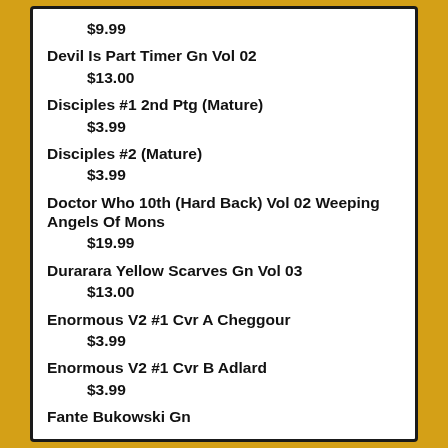$9.99
Devil Is Part Timer Gn Vol 02
$13.00
Disciples #1 2nd Ptg (Mature)
$3.99
Disciples #2 (Mature)
$3.99
Doctor Who 10th (Hard Back) Vol 02 Weeping Angels Of Mons
$19.99
Durarara Yellow Scarves Gn Vol 03
$13.00
Enormous V2 #1 Cvr A Cheggour
$3.99
Enormous V2 #1 Cvr B Adlard
$3.99
Fante Bukowski Gn